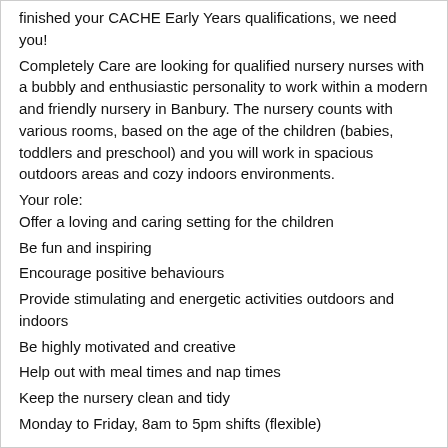finished your CACHE Early Years qualifications, we need you!
Completely Care are looking for qualified nursery nurses with a bubbly and enthusiastic personality to work within a modern and friendly nursery in Banbury. The nursery counts with various rooms, based on the age of the children (babies, toddlers and preschool) and you will work in spacious outdoors areas and cozy indoors environments.
Your role:
Offer a loving and caring setting for the children
Be fun and inspiring
Encourage positive behaviours
Provide stimulating and energetic activities outdoors and indoors
Be highly motivated and creative
Help out with meal times and nap times
Keep the nursery clean and tidy
Monday to Friday, 8am to 5pm shifts (flexible)
The positives:
Free refresher training provided
Free Enhanced DBS*
Flexible weekly schedule
Ongoing roles available
Weekly pay
Out of hours service
Reviewed...